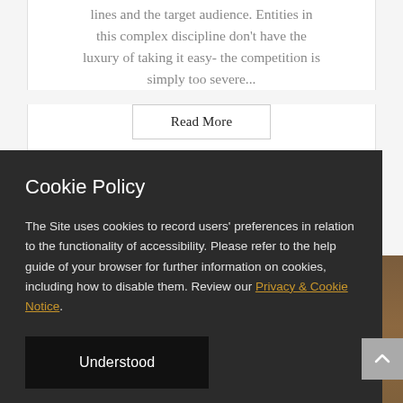lines and the target audience. Entities in this complex discipline don't have the luxury of taking it easy- the competition is simply too severe...
Read More
Cookie Policy
The Site uses cookies to record users' preferences in relation to the functionality of accessibility. Please refer to the help guide of your browser for further information on cookies, including how to disable them. Review our Privacy & Cookie Notice.
Understood
Smart Business Decisions